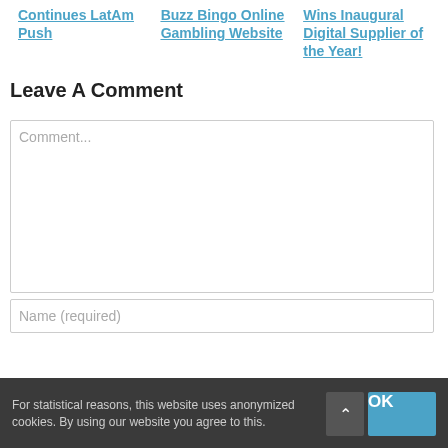Continues LatAm Push
Buzz Bingo Online Gambling Website
Wins Inaugural Digital Supplier of the Year!
Leave A Comment
Comment...
Name (required)
For statistical reasons, this website uses anonymized cookies. By using our website you agree to this.